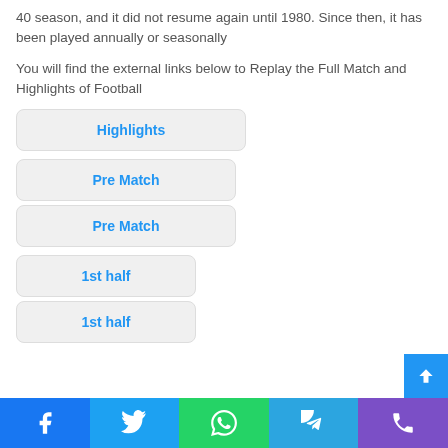40 season, and it did not resume again until 1980. Since then, it has been played annually or seasonally
You will find the external links below to Replay the Full Match and Highlights of Football
Highlights
Pre Match
Pre Match
1st half
1st half
Facebook Twitter WhatsApp Telegram Phone